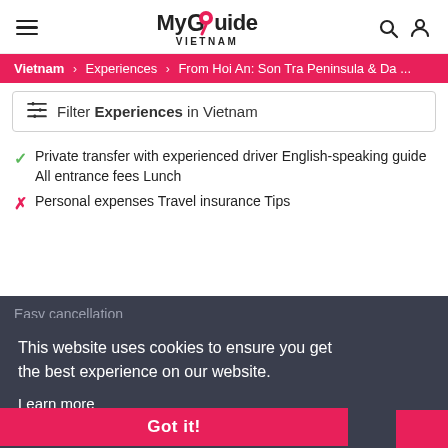MyGuide VIETNAM
Vietnam > Experiences > From Hoi An: Son Tra Peninsula & Da ...
Filter Experiences in Vietnam
✓ Private transfer with experienced driver English-speaking guide All entrance fees Lunch
✗ Personal expenses Travel insurance Tips
Easy cancellation
This website uses cookies to ensure you get the best experience on our website.
Learn more
Reserve Your Experience
Got it!
BOOK NOW